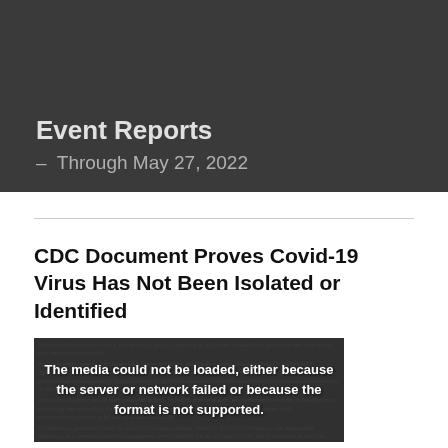Event Reports – Through May 27, 2022
CDC Document Proves Covid-19 Virus Has Not Been Isolated or Identified
[Figure (screenshot): A dark/gray screenshot of an FDA document with overlaid media error message: 'The media could not be loaded, either because the server or network failed or because the format is not supported.' Background text mentions authorized laboratories, RT-PCR techniques, MedWatch reporting, and CDC records.]